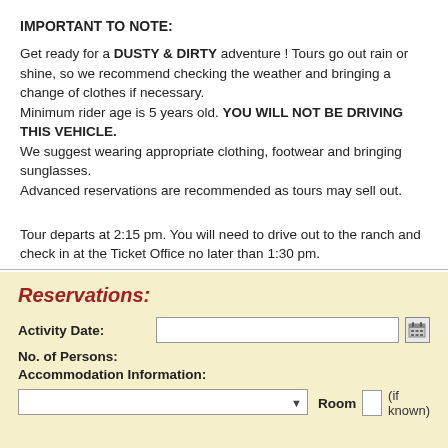IMPORTANT TO NOTE:
Get ready for a DUSTY & DIRTY adventure ! Tours go out rain or shine, so we recommend checking the weather and bringing a change of clothes if necessary.
Minimum rider age is 5 years old. YOU WILL NOT BE DRIVING THIS VEHICLE.
We suggest wearing appropriate clothing, footwear and bringing sunglasses.
Advanced reservations are recommended as tours may sell out.
Tour departs at 2:15 pm. You will need to drive out to the ranch and check in at the Ticket Office no later than 1:30 pm.
Reservations:
Activity Date:
No. of Persons:
Accommodation Information: